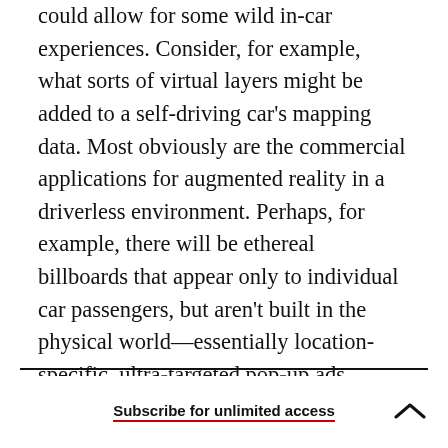could allow for some wild in-car experiences. Consider, for example, what sorts of virtual layers might be added to a self-driving car's mapping data. Most obviously are the commercial applications for augmented reality in a driverless environment. Perhaps, for example, there will be ethereal billboards that appear only to individual car passengers, but aren't built in the physical world—essentially location-specific, ultra-targeted pop-up ads. (Nightmares, I know.) Or maybe passengers will be notified when they're within a one-mile radius as a pre-selected group of friends or family.
Subscribe for unlimited access